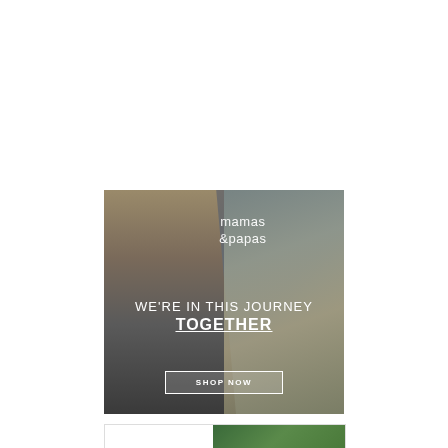[Figure (photo): Advertisement banner for Mamas & Papas. Shows a mother holding a baby against a textured wall background. White logo text reads 'mamas & papas'. Large white headline text: 'WE'RE IN THIS JOURNEY TOGETHER' with TOGETHER underlined. White bordered button reading 'SHOP NOW'.]
[Figure (photo): Partial second advertisement banner with white background on left and tropical green leaf pattern on right, partially visible at bottom of page.]